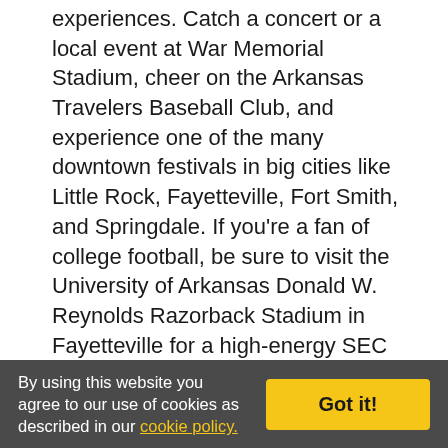experiences. Catch a concert or a local event at War Memorial Stadium, cheer on the Arkansas Travelers Baseball Club, and experience one of the many downtown festivals in big cities like Little Rock, Fayetteville, Fort Smith, and Springdale. If you're a fan of college football, be sure to visit the University of Arkansas Donald W. Reynolds Razorback Stadium in Fayetteville for a high-energy SEC game. Arkansas is also a foodie's dream with local delights like catfish, prepared many different ways, and caught fresh from the areas over 600,000 acres of lakes and riverfronts.
Arkansas also offers employment opportunities abound as the state is home to the headquarters of some of America's largest corporations, including Walmart, Tyson Foods, Dillard's, and J.B. Hunt.
By using this website you agree to our use of cookies as described in our cookie policy.